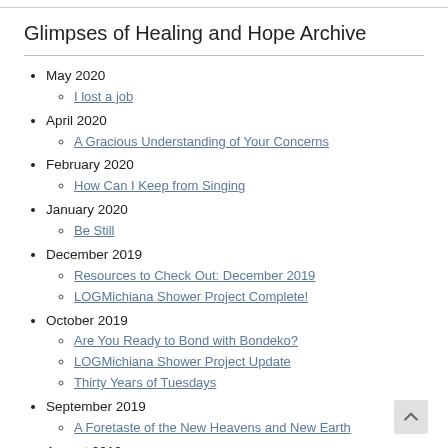Glimpses of Healing and Hope Archive
May 2020
I lost a job
April 2020
A Gracious Understanding of Your Concerns
February 2020
How Can I Keep from Singing
January 2020
Be Still
December 2019
Resources to Check Out: December 2019
LOGMichiana Shower Project Complete!
October 2019
Are You Ready to Bond with Bondeko?
LOGMichiana Shower Project Update
Thirty Years of Tuesdays
September 2019
A Foretaste of the New Heavens and New Earth
August 2019
New Partnership: LOGMichiana
Who Is In Your Web of Support?
July 2019